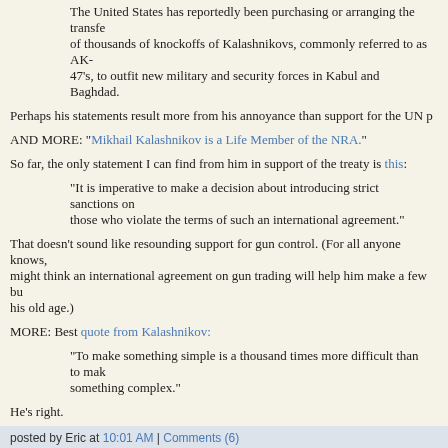The United States has reportedly been purchasing or arranging the transfer of thousands of knockoffs of Kalashnikovs, commonly referred to as AK-47's, to outfit new military and security forces in Kabul and Baghdad.
Perhaps his statements result more from his annoyance than support for the UN p
AND MORE: "Mikhail Kalashnikov is a Life Member of the NRA."
So far, the only statement I can find from him in support of the treaty is this:
"It is imperative to make a decision about introducing strict sanctions on those who violate the terms of such an international agreement."
That doesn't sound like resounding support for gun control. (For all anyone knows, might think an international agreement on gun trading will help him make a few bu his old age.)
MORE: Best quote from Kalashnikov:
"To make something simple is a thousand times more difficult than to make something complex."
He's right.
posted by Eric at 10:01 AM | Comments (6)
MONDAY, JUNE 19, 2006
REDRAWING THE LINES